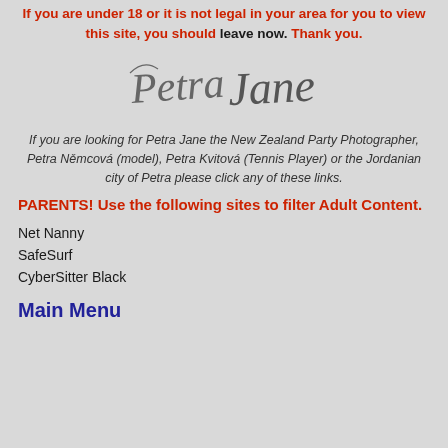If you are under 18 or it is not legal in your area for you to view this site, you should leave now. Thank you.
[Figure (logo): Petra Jane cursive signature logo in dark gray]
If you are looking for Petra Jane the New Zealand Party Photographer, Petra Němcová (model), Petra Kvitová (Tennis Player) or the Jordanian city of Petra please click any of these links.
PARENTS! Use the following sites to filter Adult Content.
Net Nanny
SafeSurf
CyberSitter Black
Main Menu